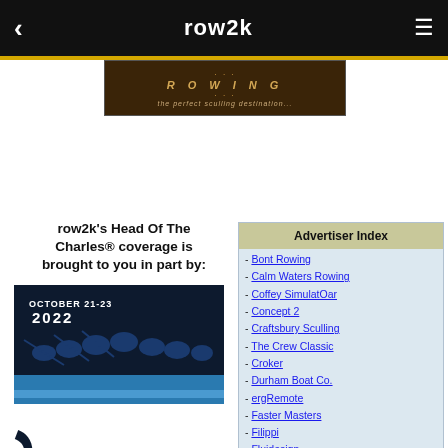row2k
[Figure (photo): ROWING banner — 'the perfect sculling destination...' on dark background]
row2k's Head Of The Charles® coverage is brought to you in part by:
[Figure (photo): Head Of The Charles 2022 event poster showing silhouetted rowers, OCTOBER 21-23 2022, CHARLES text vertical]
Advertiser Index
- Bont Rowing
- Calm Waters Rowing
- Coffey SimulatOar
- Concept 2
- Craftsbury Sculling
- The Crew Classic
- Croker
- Durham Boat Co.
- ergRemote
- Faster Masters
- Filippi
- Fluidesign
- h2row.net